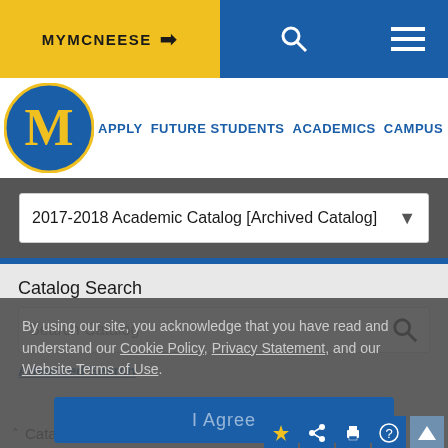MYMCNEESE
[Figure (screenshot): McNeese State University website navigation header with MYMCNEESE login button, search icon, hamburger menu, university logo M, and navigation links: APPLY, FUTURE STUDENTS, ACADEMICS, CAMPUS LIFE]
2017-2018 Academic Catalog [Archived Catalog]
Catalog Search
Search Catalog
Advanced Search
By using our site, you acknowledge that you have read and understand our Cookie Policy, Privacy Statement, and our Website Terms of Use.
I Agree
Catalog Navigation
[Archived Catalog]